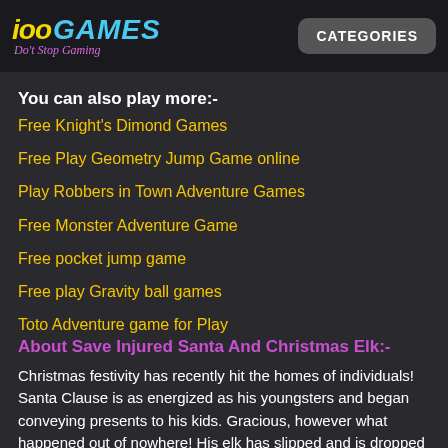ioo GAMES - Do't Stop Gaming | CATEGORIES
You can also play more:-
Free Knight's Dimond Games
Free Play Geometry Jump Game online
Play Robbers in Town Adventure Games
Free Monster Adventure Game
Free pocket jump game
Free play Gravity ball games
Toto Adventure game for Play
About Save Injured Santa And Christmas Elk:-
Christmas festivity has recently hit the homes of individuals! Santa Clause is as energized as his youngsters and began conveying presents to his kids. Gracious, however what happened out of nowhere! His elk has slipped and is dropped to the cold earth.
Fortunately, Elsa was there while gathering